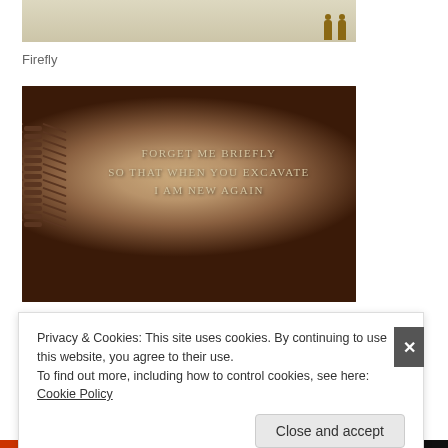[Figure (illustration): Partial top of an illustrated image showing a beige/tan background with two small human figure silhouettes in brown/gold tones at the right side]
Firefly
[Figure (photo): Photograph of a dinosaur fossil skeleton embedded in brown rock/sediment, overlaid with the poem text: FORGET ME BRIEFLY / SO THAT WHEN YOU EXCAVATE / I AM NEW AGAIN]
Privacy & Cookies: This site uses cookies. By continuing to use this website, you agree to their use.
To find out more, including how to control cookies, see here: Cookie Policy
Close and accept